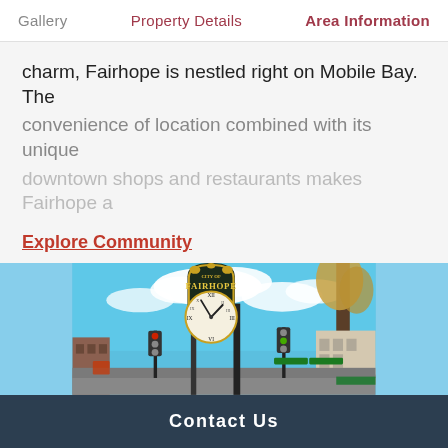Gallery   Property Details   Area Information
charm, Fairhope is nestled right on Mobile Bay. The convenience of location combined with its unique downtown shops and restaurants makes Fairhope a
Explore Community
[Figure (photo): Outdoor street scene in Fairhope, Alabama featuring the City of Fairhope ornate clock tower sign with gold trim, a large clock face showing approximately 2:10, blue sky with white clouds, traffic lights, and downtown buildings in the background.]
Contact Us